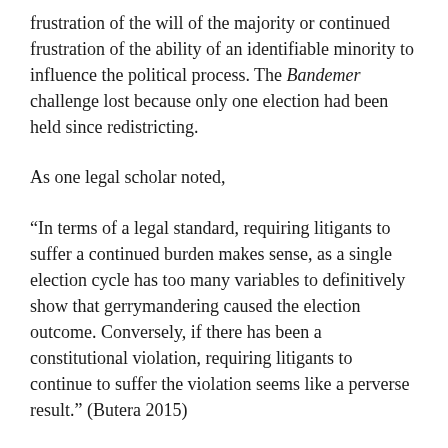frustration of the will of the majority or continued frustration of the ability of an identifiable minority to influence the political process. The Bandemer challenge lost because only one election had been held since redistricting.
As one legal scholar noted,
“In terms of a legal standard, requiring litigants to suffer a continued burden makes sense, as a single election cycle has too many variables to definitively show that gerrymandering caused the election outcome. Conversely, if there has been a constitutional violation, requiring litigants to continue to suffer the violation seems like a perverse result.” (Butera 2015)
The standard applied by the plurality in Bandemer did not survive the Court’s analysis in Vieth v. Jubelirer. In that case, Democratic voters challenged the legislative districts...